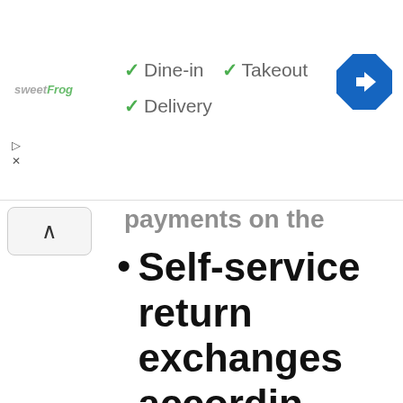[Figure (logo): sweetFrog logo in top left of header]
✓ Dine-in  ✓ Takeout
✓ Delivery
[Figure (other): Blue diamond navigation arrow icon in top right]
Self-service returns & exchanges according to return and exchange policy
Online store for merchandise sales
Multi-currency inte...
Touch-friendly m...